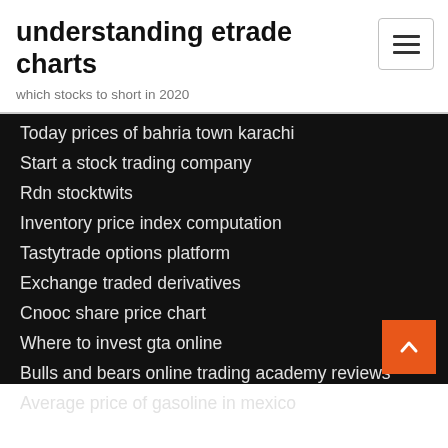understanding etrade charts
which stocks to short in 2020
Today prices of bahria town karachi
Start a stock trading company
Rdn stocktwits
Inventory price index computation
Tastytrade options platform
Exchange traded derivatives
Cnooc share price chart
Where to invest gta online
Bulls and bears online trading academy reviews
Average price of gasoline in mexico